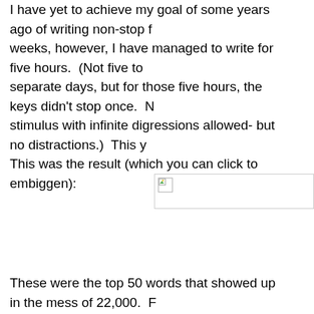I have yet to achieve my goal of some years ago of writing non-stop for weeks, however, I have managed to write for five hours.  (Not five together as separate days, but for those five hours, the keys didn't stop once.  No stimulus with infinite digressions allowed- but no distractions.)  This year. This was the result (which you can click to embiggen):
[Figure (other): Broken image placeholder icon in upper-left corner of a bordered image box]
These were the top 50 words that showed up in the mess of 22,000.  Find the jump: